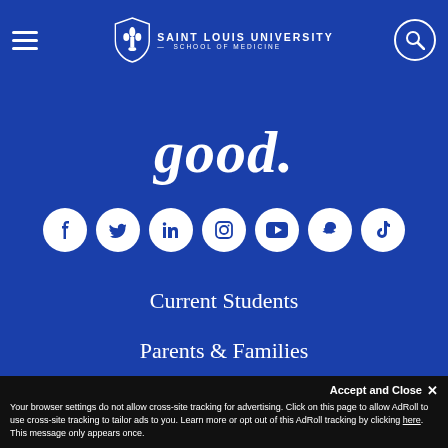SAINT LOUIS UNIVERSITY — SCHOOL OF MEDICINE
good.
[Figure (infographic): Row of 7 white circular social media icons on blue background: Facebook, Twitter, LinkedIn, Instagram, YouTube, Snapchat, TikTok]
Current Students
Parents & Families
Alumni & Donors
Faculty & Staff
Accept and Close ✕
Your browser settings do not allow cross-site tracking for advertising. Click on this page to allow AdRoll to use cross-site tracking to tailor ads to you. Learn more or opt out of this AdRoll tracking by clicking here. This message only appears once.